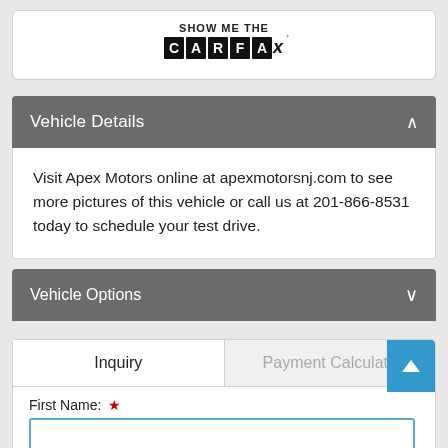[Figure (logo): SHOW ME THE CARFAX logo — black bold text 'SHOW ME THE' above, 'CARFAX' in block letter boxes]
Vehicle Details
Visit Apex Motors online at apexmotorsnj.com to see more pictures of this vehicle or call us at 201-866-8531 today to schedule your test drive.
Vehicle Options
Inquiry
Payment Calculator
First Name: *